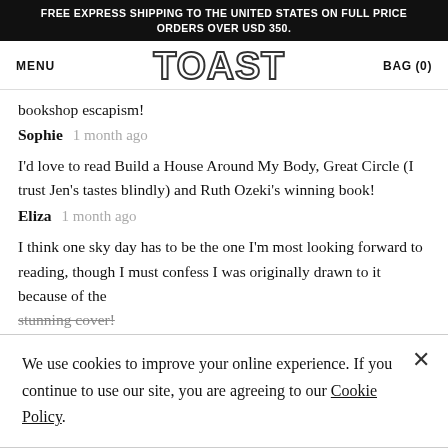FREE EXPRESS SHIPPING TO THE UNITED STATES ON FULL PRICE ORDERS OVER USD 350.
MENU   TOAST   BAG (0)
bookshop escapism!
Sophie   1 month ago
I'd love to read Build a House Around My Body, Great Circle (I trust Jen's tastes blindly) and Ruth Ozeki's winning book!
Eliza   1 month ago
I think one sky day has to be the one I'm most looking forward to reading, though I must confess I was originally drawn to it because of the stunning cover!
We use cookies to improve your online experience. If you continue to use our site, you are agreeing to our Cookie Policy.
original and interesting.
Jane   1 month ago